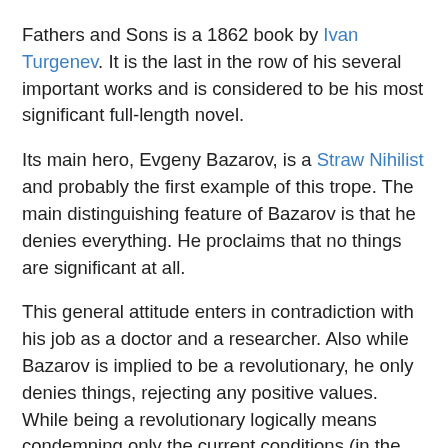Fathers and Sons is a 1862 book by Ivan Turgenev. It is the last in the row of his several important works and is considered to be his most significant full-length novel.
Its main hero, Evgeny Bazarov, is a Straw Nihilist and probably the first example of this trope. The main distinguishing feature of Bazarov is that he denies everything. He proclaims that no things are significant at all.
This general attitude enters in contradiction with his job as a doctor and a researcher. Also while Bazarov is implied to be a revolutionary, he only denies things, rejecting any positive values. While being a revolutionary logically means condemning only the current conditions (in the 1862 those set by the repressive Tsarist regime), however that same revolutionary should be very keen on the ideas of freedom and revolt and have high hopes for the society that be. Bazarov lacks it all, he always denies everything, never offering a constructive (or even destructive) program. Most probably Turgenev could not depict an overt revolutionary s